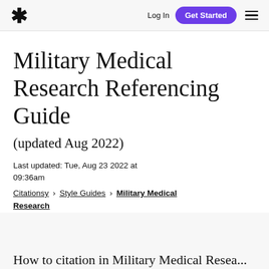* Log In  Get Started  ☰
Military Medical Research Referencing Guide
(updated Aug 2022)
Last updated: Tue, Aug 23 2022 at 09:36am
Citationsy › Style Guides › Military Medical Research
How to citation in Military Medical Research...